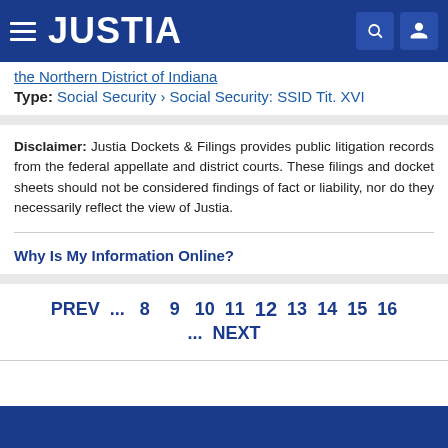JUSTIA
the Northern District of Indiana
Type: Social Security › Social Security: SSID Tit. XVI
Disclaimer: Justia Dockets & Filings provides public litigation records from the federal appellate and district courts. These filings and docket sheets should not be considered findings of fact or liability, nor do they necessarily reflect the view of Justia.
Why Is My Information Online?
PREV ... 8 9 10 11 12 13 14 15 16 ... NEXT